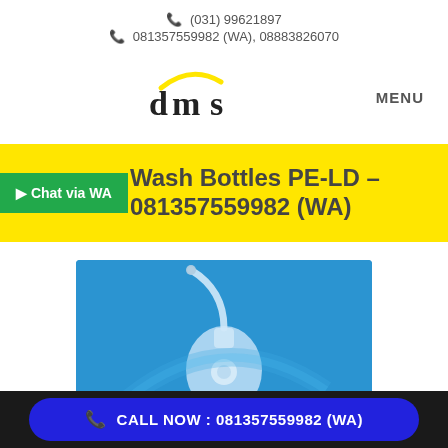📞 (031) 99621897
📞 081357559982 (WA), 08883826070
[Figure (logo): DMS company logo with yellow arc above letters 'dms' in dark lowercase serif, accompanied by MENU label]
Wash Bottles PE-LD – 081357559982 (WA)
Chat via WA
[Figure (photo): Product photo of wash bottles on blue background showing laboratory wash bottle with curved nozzle]
CALL NOW : 081357559982 (WA)